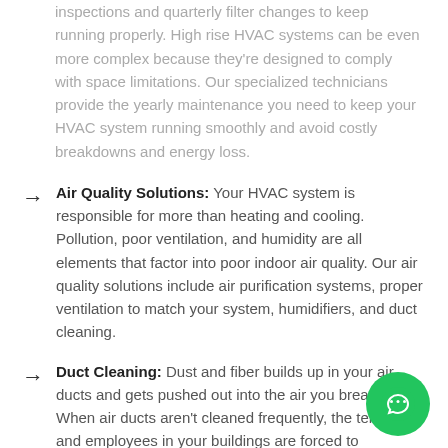inspections and quarterly filter changes to keep running properly. High rise HVAC systems can be even more complex because they're designed to comply with space limitations. Our specialized technicians provide the yearly maintenance you need to keep your HVAC system running smoothly and avoid costly breakdowns and energy loss.
Air Quality Solutions: Your HVAC system is responsible for more than heating and cooling. Pollution, poor ventilation, and humidity are all elements that factor into poor indoor air quality. Our air quality solutions include air purification systems, proper ventilation to match your system, humidifiers, and duct cleaning.
Duct Cleaning: Dust and fiber builds up in your air ducts and gets pushed out into the air you breathe. When air ducts aren't cleaned frequently, the tenants and employees in your buildings are forced to continually breathe in pollutants and allergens that contribute to respiratory issues and poor